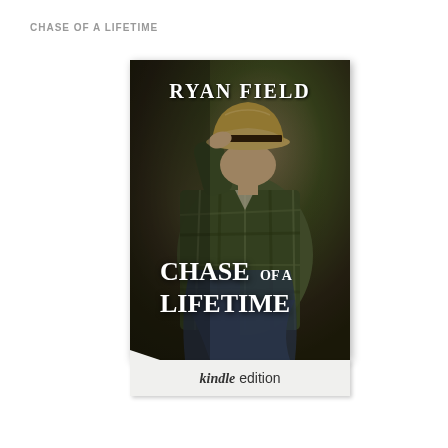CHASE OF A LIFETIME
[Figure (photo): Book cover for 'Chase of a Lifetime' by Ryan Field, Kindle edition. Shows a man in a plaid flannel shirt and cowboy hat, sitting with head bowed, on a dark rustic background. The cover displays the author name 'RYAN FIELD' at the top and the book title 'CHASE OF A LIFETIME' in large white serif text near the bottom. A 'kindle edition' banner appears at the bottom of the cover.]